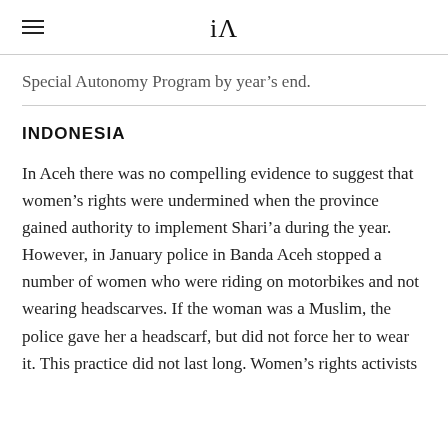iA
Special Autonomy Program by year's end.
INDONESIA
In Aceh there was no compelling evidence to suggest that women's rights were undermined when the province gained authority to implement Shari'a during the year. However, in January police in Banda Aceh stopped a number of women who were riding on motorbikes and not wearing headscarves. If the woman was a Muslim, the police gave her a headscarf, but did not force her to wear it. This practice did not last long. Women's rights activists